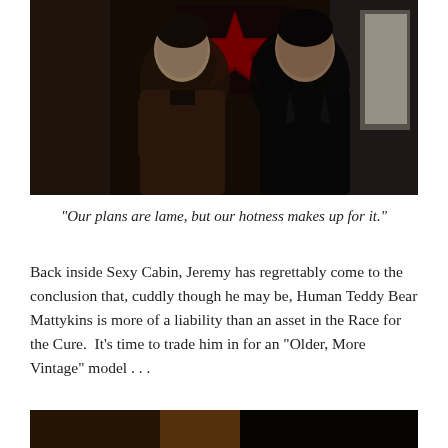[Figure (photo): Two young men standing close together indoors in a darkened room. One wears a dark brown long-sleeve shirt, the other wears a black leather jacket. A red star decoration is visible on the wall behind them.]
“Our plans are lame, but our hotness makes up for it.”
Back inside Sexy Cabin, Jeremy has regrettably come to the conclusion that, cuddly though he may be, Human Teddy Bear Mattykins is more of a liability than an asset in the Race for the Cure.  It’s time to trade him in for an “Older, More Vintage” model . . .
[Figure (photo): Partial view of a dimly lit scene with warm orange tones, bottom of the page.]